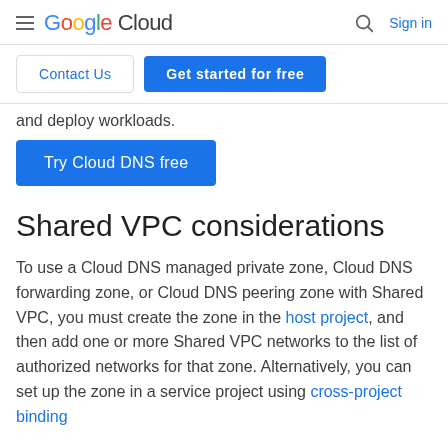Google Cloud — Sign in
Contact Us  Get started for free
and deploy workloads.
Try Cloud DNS free
Shared VPC considerations
To use a Cloud DNS managed private zone, Cloud DNS forwarding zone, or Cloud DNS peering zone with Shared VPC, you must create the zone in the host project, and then add one or more Shared VPC networks to the list of authorized networks for that zone. Alternatively, you can set up the zone in a service project using cross-project binding